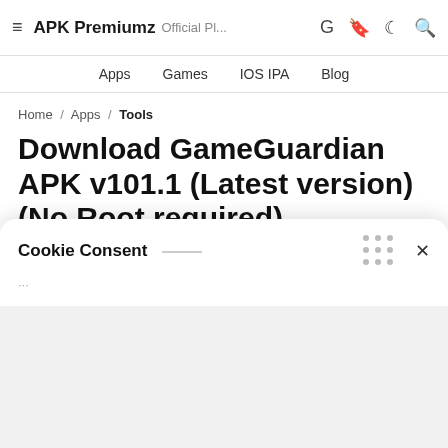≡ APK Premiumz Official Pl...
Apps  Games  IOS IPA  Blog
Home / Apps / Tools
Download GameGuardian APK v101.1 (Latest version) (No Root required)
Always looking for how to hack android games to your likeness? Well GameGuardian can help you hack and play games in your c
Cookie Consent
We use cookies on this site to offer you relevant content and...